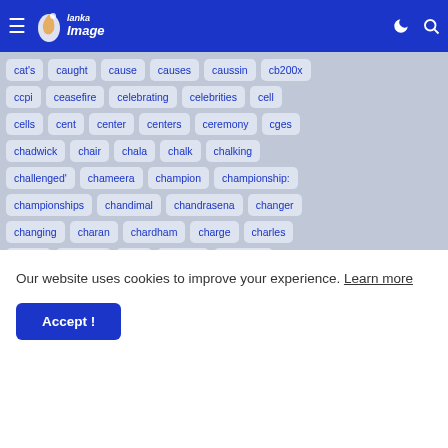Lanka Image
cat's
caught
cause
causes
caussin
cb200x
ccpi
ceasefire
celebrating
celebrities
cell
cells
cent
center
centers
ceremony
cges
chadwick
chair
chala
chalk
chalking
challenged'
chameera
champion
championship:
championships
chandimal
chandrasena
changer
changing
charan
chardham
charge
charles
charts
chastain
chat
cheadle
cheating:
Our website uses cookies to improve your experience. Learn more